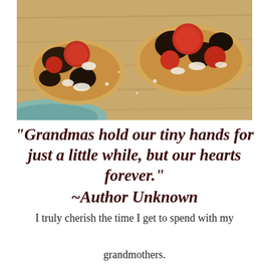[Figure (photo): Close-up food photo showing bruschetta or crostini with tomatoes, olives, and cheese on a wooden board, with a teal/blue rim plate visible at edge.]
"Grandmas hold our tiny hands for just a little while, but our hearts forever." ~Author Unknown
I truly cherish the time I get to spend with my grandmothers.

They've lived a lifetime of trials and tribulations mixed with joy and laughter, the stories they can tell...